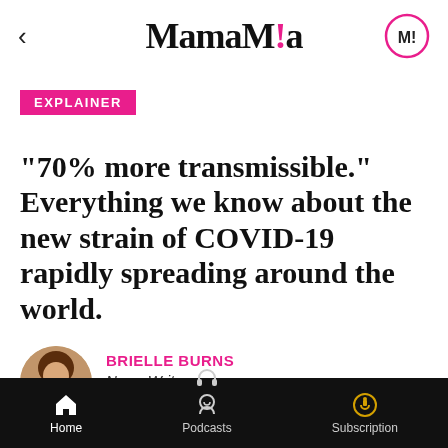MamaMia
EXPLAINER
"70% more transmissible." Everything we know about the new strain of COVID-19 rapidly spreading around the world.
BRIELLE BURNS
News Writer
DECEMBER 21, 2020
Home  Podcasts  Subscription